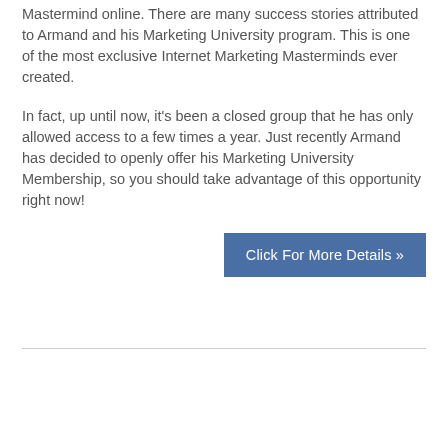Mastermind online. There are many success stories attributed to Armand and his Marketing University program. This is one of the most exclusive Internet Marketing Masterminds ever created.
In fact, up until now, it's been a closed group that he has only allowed access to a few times a year. Just recently Armand has decided to openly offer his Marketing University Membership, so you should take advantage of this opportunity right now!
Click For More Details »